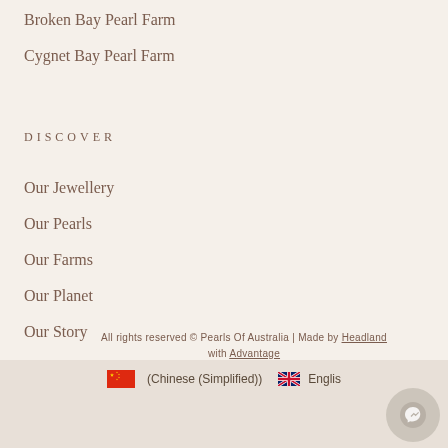Broken Bay Pearl Farm
Cygnet Bay Pearl Farm
DISCOVER
Our Jewellery
Our Pearls
Our Farms
Our Planet
Our Story
All rights reserved © Pearls Of Australia | Made by Headland with Advantage
(Chinese (Simplified))  English